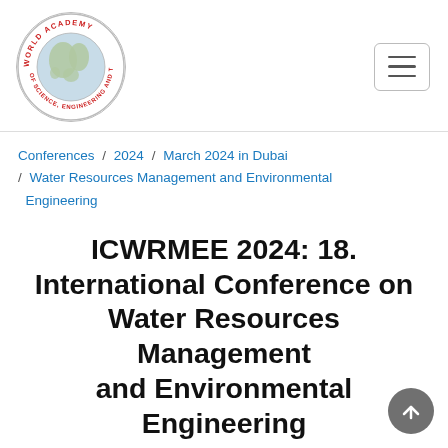[Figure (logo): World Academy of Science, Engineering and Technology circular logo with globe illustration and red text around the border]
[Figure (other): Hamburger menu button (three horizontal lines) in a rounded rectangle border]
Conferences / 2024 / March 2024 in Dubai / Water Resources Management and Environmental Engineering
ICWRMEE 2024: 18. International Conference on Water Resources Management and Environmental Engineering
March 22-23, 2024 in Dubai, United